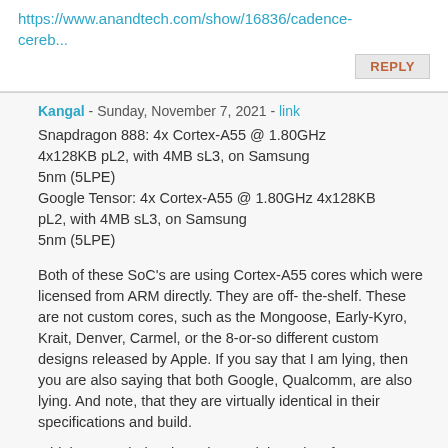https://www.anandtech.com/show/16836/cadence-cereb...
REPLY
Kangal - Sunday, November 7, 2021 - link
Snapdragon 888: 4x Cortex-A55 @ 1.80GHz 4x128KB pL2, with 4MB sL3, on Samsung 5nm (5LPE)
Google Tensor: 4x Cortex-A55 @ 1.80GHz 4x128KB pL2, with 4MB sL3, on Samsung 5nm (5LPE)
Both of these SoC's are using Cortex-A55 cores which were licensed from ARM directly. They are off-the-shelf. These are not custom cores, such as the Mongoose, Early-Kyro, Krait, Denver, Carmel, or the 8-or-so different custom designs released by Apple. If you say that I am lying, then you are also saying that both Google, Qualcomm, are also lying. And note, that they are virtually identical in their specifications and build.
I think you entirely mis-understood the point of Cadence is about. Sure, even on the same chips